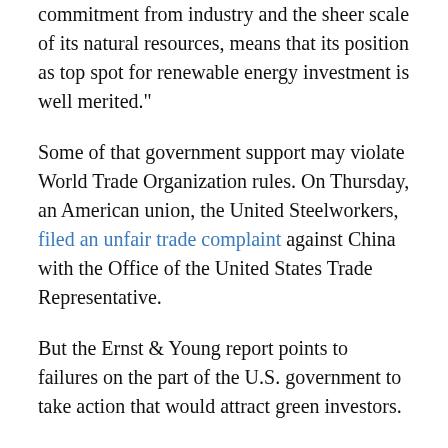commitment from industry and the sheer scale of its natural resources, means that its position as top spot for renewable energy investment is well merited."
Some of that government support may violate World Trade Organization rules. On Thursday, an American union, the United Steelworkers, filed an unfair trade complaint against China with the Office of the United States Trade Representative.
But the Ernst & Young report points to failures on the part of the U.S. government to take action that would attract green investors.
For one thing, Congress has so far failed to establish a national Renewable Energy Standard that would require the country's utilities to obtain a certain percentage of electricity from non-carbon-emitting sources.